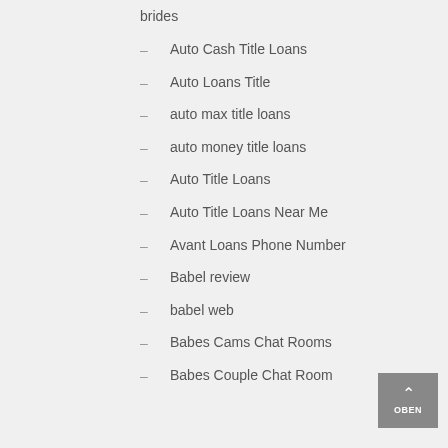brides
Auto Cash Title Loans
Auto Loans Title
auto max title loans
auto money title loans
Auto Title Loans
Auto Title Loans Near Me
Avant Loans Phone Number
Babel review
babel web
Babes Cams Chat Rooms
Babes Couple Chat Room